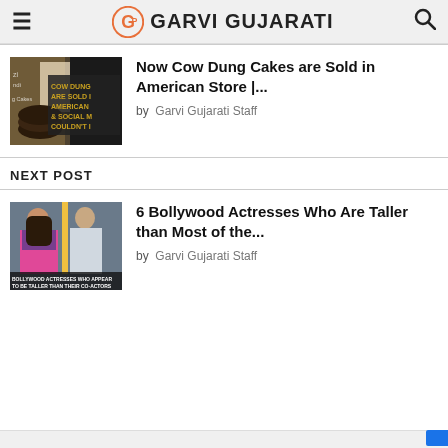GARVI GUJARATI
[Figure (photo): Thumbnail image of Cow Dung Cakes packaging with text overlay]
Now Cow Dung Cakes are Sold in American Store |...
by  Garvi Gujarati Staff
NEXT POST
[Figure (photo): Thumbnail image of Bollywood actresses with two actors, text overlay at bottom]
6 Bollywood Actresses Who Are Taller than Most of the...
by  Garvi Gujarati Staff